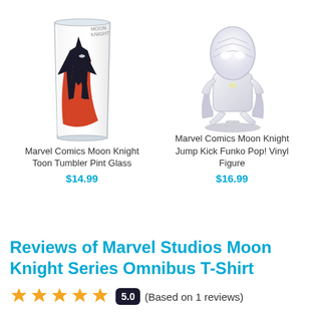[Figure (photo): Product photo of Marvel Comics Moon Knight Toon Tumbler Pint Glass - a clear pint glass with Moon Knight artwork in black and red]
Marvel Comics Moon Knight Toon Tumbler Pint Glass
$14.99
[Figure (photo): Product photo of Marvel Comics Moon Knight Jump Kick Funko Pop! Vinyl Figure - a white/grey vinyl figure of Moon Knight in a jumping pose]
Marvel Comics Moon Knight Jump Kick Funko Pop! Vinyl Figure
$16.99
Reviews of Marvel Studios Moon Knight Series Omnibus T-Shirt
5.0  (Based on 1 reviews)